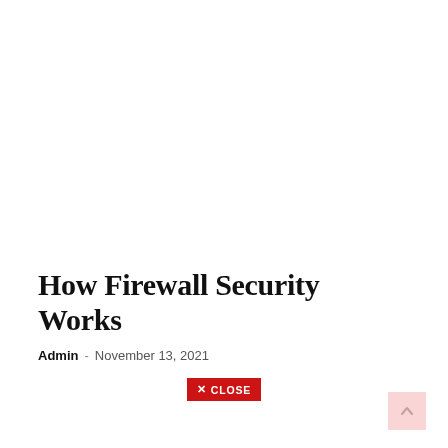How Firewall Security Works
Admin - November 13, 2021
✕ CLOSE